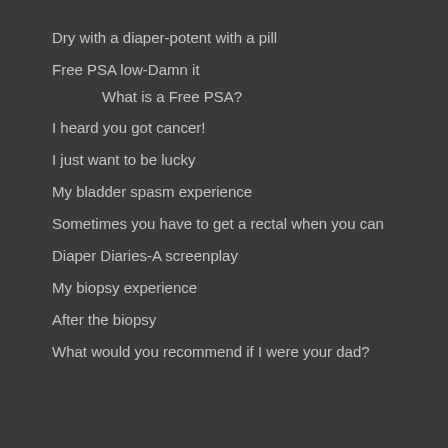Dry with a diaper-potent with a pill
Free PSA low-Damn it
What is a Free PSA?
I heard you got cancer!
I just want to be lucky
My bladder spasm experience
Sometimes you have to get a rectal when you can
Diaper Diaries-A screenplay
My biopsy experience
After the biopsy
What would you recommend if I were your dad?